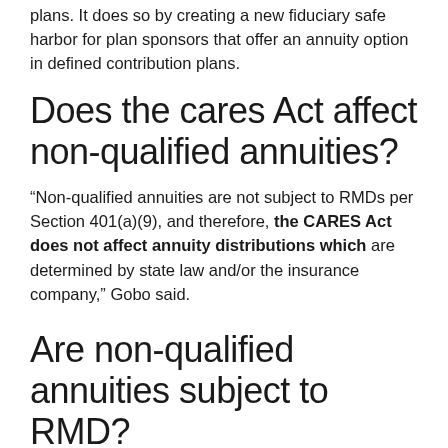plans. It does so by creating a new fiduciary safe harbor for plan sponsors that offer an annuity option in defined contribution plans.
Does the cares Act affect non-qualified annuities?
“Non-qualified annuities are not subject to RMDs per Section 401(a)(9), and therefore, the CARES Act does not affect annuity distributions which are determined by state law and/or the insurance company,” Gobo said.
Are non-qualified annuities subject to RMD?